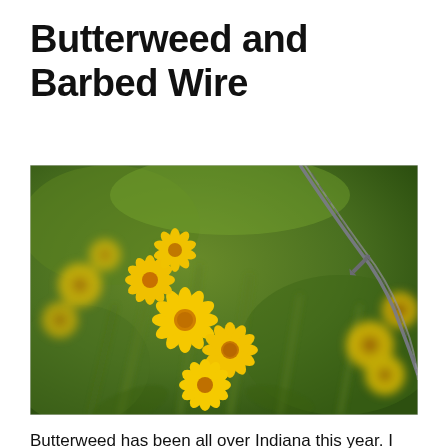Butterweed and Barbed Wire
[Figure (photo): Close-up photograph of yellow butterweed flowers (small daisy-like blossoms with bright yellow petals and centers) clustered together against a blurred green background, with a diagonal barbed wire fence running across the upper right portion of the image.]
Butterweed has been all over Indiana this year. I found a large area of the weed along our property and one of our fence rows has a lot of it.